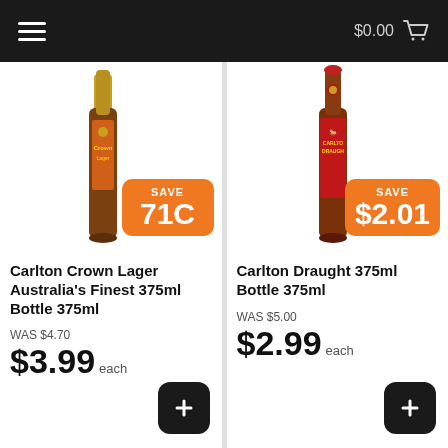$0.00
[Figure (photo): Carlton Crown Lager Australia's Finest 375ml bottle with orange SAVE 71C badge]
Carlton Crown Lager Australia's Finest 375ml Bottle 375ml
WAS $4.70
$3.99 each
[Figure (photo): Carlton Draught 375ml bottle with orange SAVE $2.01 badge]
Carlton Draught 375ml Bottle 375ml
WAS $5.00
$2.99 each